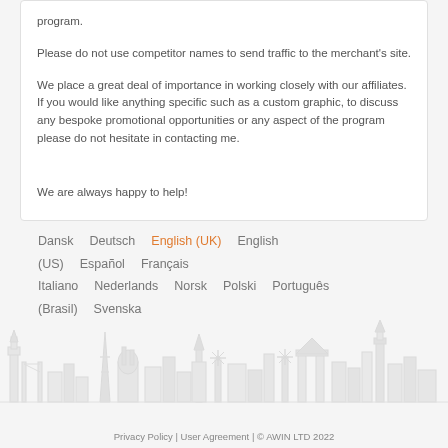program.
Please do not use competitor names to send traffic to the merchant's site.
We place a great deal of importance in working closely with our affiliates. If you would like anything specific such as a custom graphic, to discuss any bespoke promotional opportunities or any aspect of the program please do not hesitate in contacting me.
We are always happy to help!
Dansk  Deutsch  English (UK)  English (US)  Español  Français  Italiano  Nederlands  Norsk  Polski  Português (Brasil)  Svenska
[Figure (illustration): Cityscape skyline silhouette illustration showing various European landmarks including the Eiffel Tower, Big Ben, windmills, and other buildings in a light gray watermark style]
Privacy Policy | User Agreement | © AWIN LTD 2022